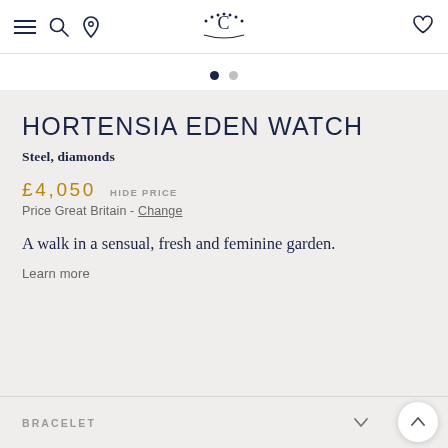Navigation bar with menu, search, location icons; Chaumet logo centered; heart/wishlist icon right
[Figure (other): Carousel pagination dots: one filled dark navy dot and one light grey dot]
HORTENSIA EDEN WATCH
Steel, diamonds
£4,050  HIDE PRICE
Price Great Britain - Change
A walk in a sensual, fresh and feminine garden.
Learn more
BRACELET